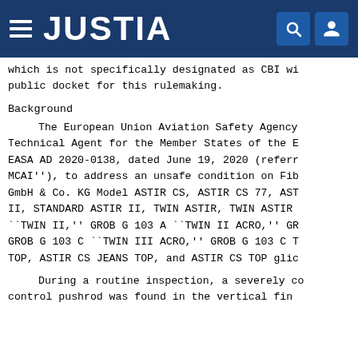JUSTIA
which is not specifically designated as CBI wi public docket for this rulemaking.
Background
The European Union Aviation Safety Agency Technical Agent for the Member States of the E EASA AD 2020-0138, dated June 19, 2020 (referr MCAI''), to address an unsafe condition on Fib GmbH & Co. KG Model ASTIR CS, ASTIR CS 77, AST II, STANDARD ASTIR II, TWIN ASTIR, TWIN ASTIR ``TWIN II,'' GROB G 103 A ``TWIN II ACRO,'' GR GROB G 103 C ``TWIN III ACRO,'' GROB G 103 C T TOP, ASTIR CS JEANS TOP, and ASTIR CS TOP glic
During a routine inspection, a severely co control pushrod was found in the vertical fin